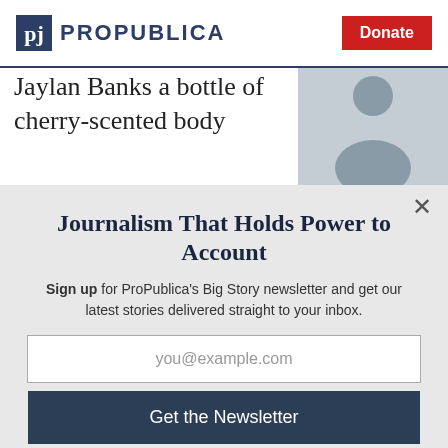ProPublica | Donate
Jaylan Banks a bottle of cherry-scented body
Journalism That Holds Power to Account
Sign up for ProPublica's Big Story newsletter and get our latest stories delivered straight to your inbox.
you@example.com
Get the Newsletter
No thanks, I'm all set
This site is protected by reCAPTCHA and the Google Privacy Policy and Terms of Service apply.